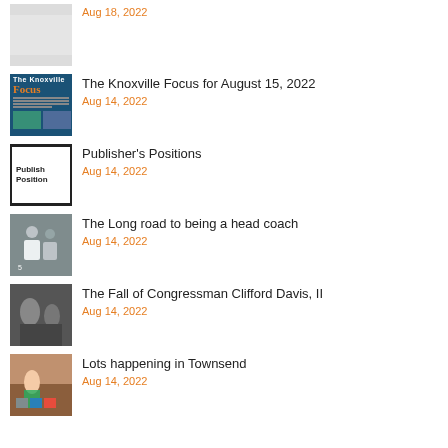Aug 18, 2022
The Knoxville Focus for August 15, 2022
Aug 14, 2022
Publisher's Positions
Aug 14, 2022
The Long road to being a head coach
Aug 14, 2022
The Fall of Congressman Clifford Davis, II
Aug 14, 2022
Lots happening in Townsend
Aug 14, 2022